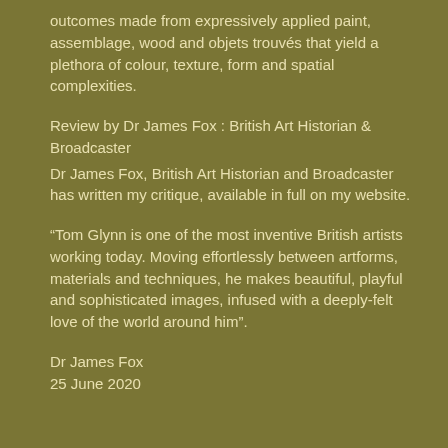outcomes made from expressively applied paint, assemblage, wood and objets trouvés that yield a plethora of colour, texture, form and spatial complexities.
Review by Dr James Fox : British Art Historian & Broadcaster
Dr James Fox, British Art Historian and Broadcaster has written my critique, available in full on my website.
“Tom Glynn is one of the most inventive British artists working today. Moving effortlessly between artforms, materials and techniques, he makes beautiful, playful and sophisticated images, infused with a deeply-felt love of the world around him”.
Dr James Fox
25 June 2020